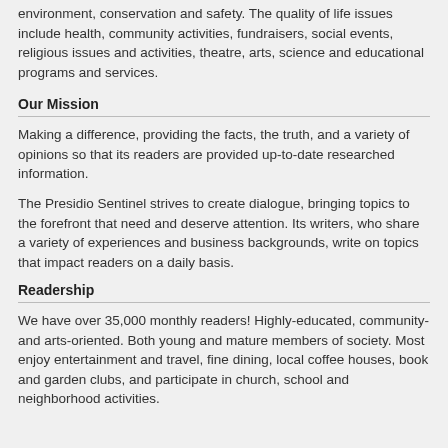environment, conservation and safety. The quality of life issues include health, community activities, fundraisers, social events, religious issues and activities, theatre, arts, science and educational programs and services.
Our Mission
Making a difference, providing the facts, the truth, and a variety of opinions so that its readers are provided up-to-date researched information.
The Presidio Sentinel strives to create dialogue, bringing topics to the forefront that need and deserve attention. Its writers, who share a variety of experiences and business backgrounds, write on topics that impact readers on a daily basis.
Readership
We have over 35,000 monthly readers! Highly-educated, community- and arts-oriented. Both young and mature members of society. Most enjoy entertainment and travel, fine dining, local coffee houses, book and garden clubs, and participate in church, school and neighborhood activities.